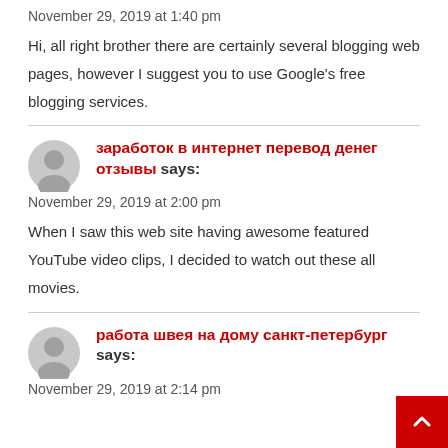November 29, 2019 at 1:40 pm
Hi, all right brother there are certainly several blogging web pages, however I suggest you to use Google's free blogging services.
заработок в интернет перевод денег отзывы says:
November 29, 2019 at 2:00 pm
When I saw this web site having awesome featured YouTube video clips, I decided to watch out these all movies.
работа швея на дому санкт-петербург says:
November 29, 2019 at 2:14 pm